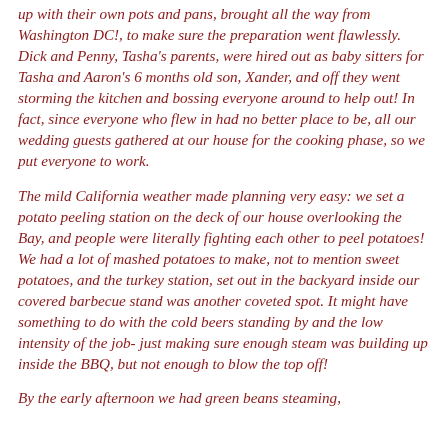up with their own pots and pans, brought all the way from Washington DC!, to make sure the preparation went flawlessly. Dick and Penny, Tasha's parents, were hired out as baby sitters for Tasha and Aaron's 6 months old son, Xander, and off they went storming the kitchen and bossing everyone around to help out! In fact, since everyone who flew in had no better place to be, all our wedding guests gathered at our house for the cooking phase, so we put everyone to work.

The mild California weather made planning very easy: we set a potato peeling station on the deck of our house overlooking the Bay, and people were literally fighting each other to peel potatoes! We had a lot of mashed potatoes to make, not to mention sweet potatoes, and the turkey station, set out in the backyard inside our covered barbecue stand was another coveted spot. It might have something to do with the cold beers standing by and the low intensity of the job- just making sure enough steam was building up inside the BBQ, but not enough to blow the top off!

By the early afternoon we had green beans steaming,